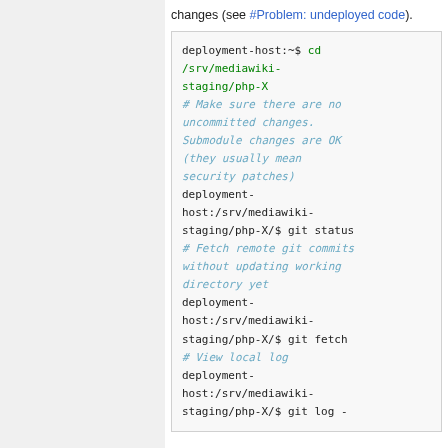changes (see #Problem: undeployed code).
deployment-host:~$ cd /srv/mediawiki-staging/php-X
# Make sure there are no uncommitted changes. Submodule changes are OK (they usually mean security patches)
deployment-host:/srv/mediawiki-staging/php-X/$ git status
# Fetch remote git commits without updating working directory yet
deployment-host:/srv/mediawiki-staging/php-X/$ git fetch
# View local log
deployment-host:/srv/mediawiki-staging/php-X/$ git log -